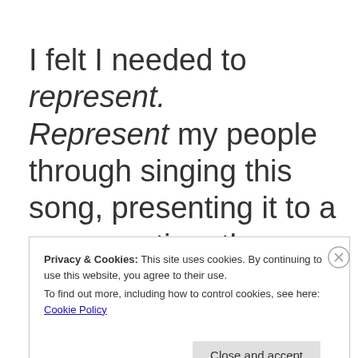I felt I needed to represent. Represent my people through singing this song, presenting it to a congregation, the majority of which were of a different race. I felt James Weldon Johnson who wrote
Privacy & Cookies: This site uses cookies. By continuing to use this website, you agree to their use.
To find out more, including how to control cookies, see here: Cookie Policy